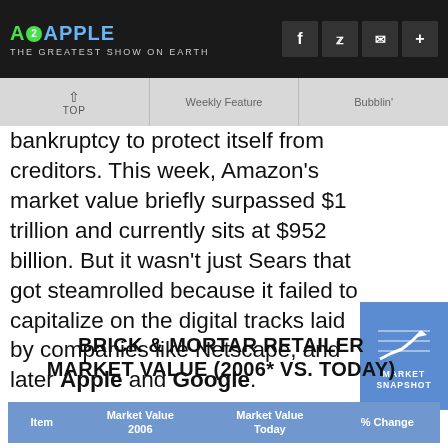A2APPLE – THE GREATEST SHOW ON EARTH
bankruptcy to protect itself from creditors. This week, Amazon's market value briefly surpassed $1 trillion and currently sits at $952 billion. But it wasn't just Sears that got steamrolled because it failed to capitalize on the digital tracks laid by companies like Netscape, and later Apple and Google.
[Figure (infographic): Market Snapshot badge with upward trending arrow chart on blue background]
BRICK & MORTAR RETAILER MARKET VALUE (2006* VS. TODAY)
| Item | Market Value 2006 | Market Value Today | % Change |
| --- | --- | --- | --- |
| Best Buy | $28.4B | $21.9B | (23%) |